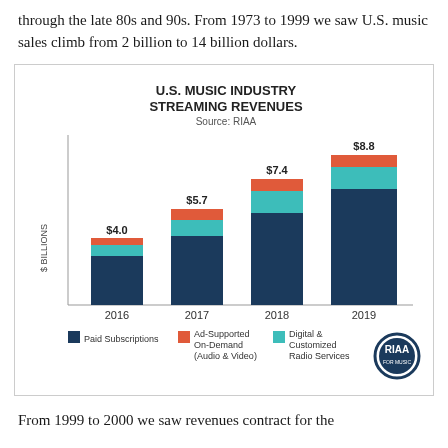through the late 80s and 90s. From 1973 to 1999 we saw U.S. music sales climb from 2 billion to 14 billion dollars.
[Figure (stacked-bar-chart): U.S. MUSIC INDUSTRY STREAMING REVENUES]
From 1999 to 2000 we saw revenues contract for the